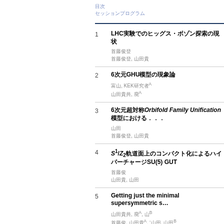目次
セッションプログラム
1 LHC実験でのヒッグス・ボゾン探索の現状
著者名
著者名A, 著者名B
2 6次元GHU模型の現象論
著者名, KEK研究者A
著者名, 研究者A
3 6次元超対称Orbifold Family Unification模型における...
4 S1/Z2軌道面上のコンパクト化によるSU(5) GUT
5 Getting just the minimal supersymmetric s...
6 超対称D項分裂による軟質量の計算と現象論的含意